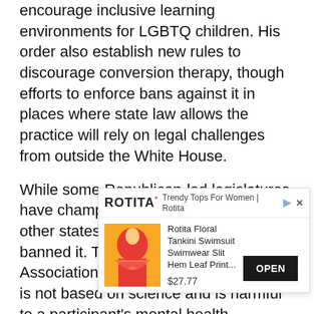encourage inclusive learning environments for LGBTQ children. His order also establish new rules to discourage conversion therapy, though efforts to enforce bans against it in places where state law allows the practice will rely on legal challenges from outside the White House.
While some Republican-led legislatures have championed conversation therapy, other states and communities have banned it. The American Psychological Association says conversation therapy is not based on science and is harmful to a participant's mental health.
The order further directs health officials to spell out that federally funded programs cannot be used to fund conversion therapy, and directs health officials to health officials to the LGBT surgery.
[Figure (other): Advertisement overlay for Rotita showing a floral tankini swimsuit. Header shows ROTITA logo and text 'Trendy Tops For Women | Rotita'. Product: 'Rotita Floral Tankini Swimsuit Swimwear Slit Hem Leaf Print...' priced at $27.77 with an OPEN button.]